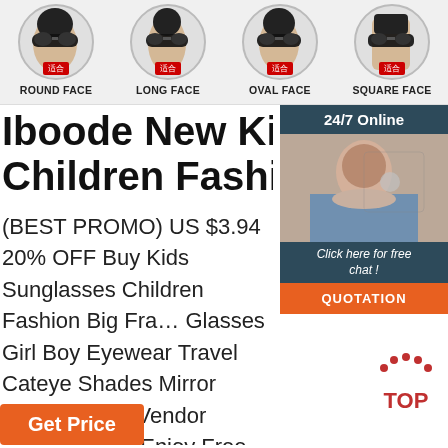[Figure (illustration): Four face shape icons (Round Face, Long Face, Oval Face, Square Face) shown as circular portraits with sunglasses and red Chinese character badges]
Iboode New Kids Sunglasses Children Fashion Big Frame
(BEST PROMO) US $3.94 20% OFF Buy Kids Sunglasses Children Fashion Big Frame Glasses Girl Boy Eyewear Travel Cateye Shades Mirror Goggle From Vendor Iboode Store. Enjoy Free Shipping Worldwide! Limited Sale Easy Return. Shop Quality & Best Boy's Sunglasses Directly From China Boy's Sunglasses Suppliers.
[Figure (photo): Chat widget showing a woman with headset and text: 24/7 Online, Click here for free chat!, QUOTATION button]
[Figure (illustration): TOP button with red dots arc above text]
Get Price